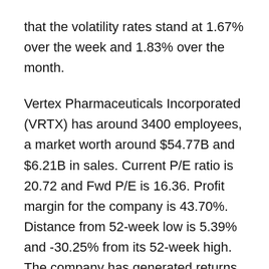that the volatility rates stand at 1.67% over the week and 1.83% over the month.
Vertex Pharmaceuticals Incorporated (VRTX) has around 3400 employees, a market worth around $54.77B and $6.21B in sales. Current P/E ratio is 20.72 and Fwd P/E is 16.36. Profit margin for the company is 43.70%. Distance from 52-week low is 5.39% and -30.25% from its 52-week high. The company has generated returns on investments over the last 12 months (26.40%).
Vertex Pharmaceuticals Incorporated (VRTX) Analyst Forecasts